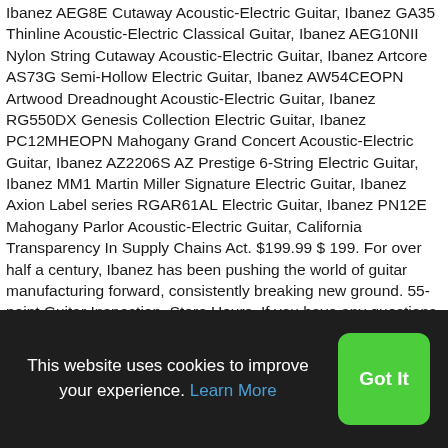Ibanez AEG8E Cutaway Acoustic-Electric Guitar, Ibanez GA35 Thinline Acoustic-Electric Classical Guitar, Ibanez AEG10NII Nylon String Cutaway Acoustic-Electric Guitar, Ibanez Artcore AS73G Semi-Hollow Electric Guitar, Ibanez AW54CEOPN Artwood Dreadnought Acoustic-Electric Guitar, Ibanez RG550DX Genesis Collection Electric Guitar, Ibanez PC12MHEOPN Mahogany Grand Concert Acoustic-Electric Guitar, Ibanez AZ2206S AZ Prestige 6-String Electric Guitar, Ibanez MM1 Martin Miller Signature Electric Guitar, Ibanez Axion Label series RGAR61AL Electric Guitar, Ibanez PN12E Mahogany Parlor Acoustic-Electric Guitar, California Transparency In Supply Chains Act. $199.99 $ 199. For over half a century, Ibanez has been pushing the world of guitar manufacturing forward, consistently breaking new ground. 55-point Guitar Inspection. Store Hours, If you have any questions, please call us at (800) 222-4700. Fast & Free
This website uses cookies to improve your experience. Learn More